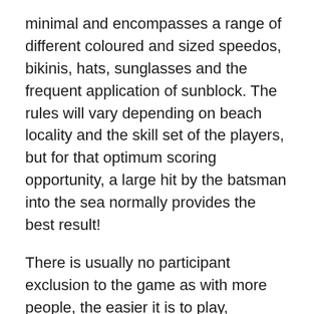minimal and encompasses a range of different coloured and sized speedos, bikinis, hats, sunglasses and the frequent application of sunblock. The rules will vary depending on beach locality and the skill set of the players, but for that optimum scoring opportunity, a large hit by the batsman into the sea normally provides the best result!
There is usually no participant exclusion to the game as with more people, the easier it is to play, particularly when fielding the ball on the soft hot sand in your bare feet. Those wanting to play do not need a formal invitation. The accepted custom is to simply walk up and ask “Can I join in and play?” The response is unquestionably “Yep, sure thing, just take a fielding position out in the sand, or sea”. I personally like the sea, as it provides the maximum